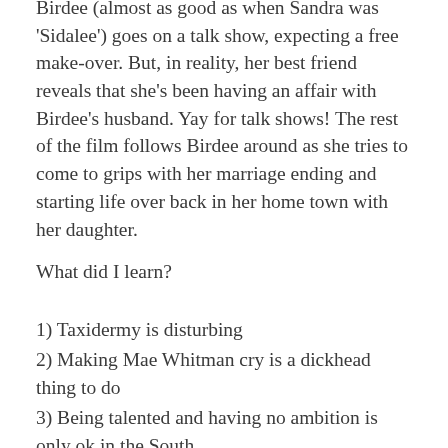Birdee (almost as good as when Sandra was 'Sidalee') goes on a talk show, expecting a free make-over. But, in reality, her best friend reveals that she's been having an affair with Birdee's husband. Yay for talk shows! The rest of the film follows Birdee around as she tries to come to grips with her marriage ending and starting life over back in her home town with her daughter.
What did I learn?
1) Taxidermy is disturbing
2) Making Mae Whitman cry is a dickhead thing to do
3) Being talented and having no ambition is only ok in the South.